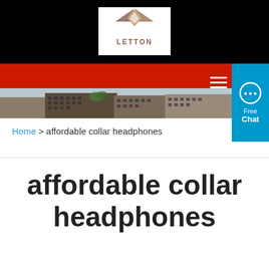[Figure (logo): Letton brand logo - a geometric diamond/arrow shape in brown/tan with 'LETTON' text below, on white background]
[Figure (photo): Aerial/street view photo of a multi-story brick industrial or commercial building complex]
Home > affordable collar headphones
affordable collar headphones